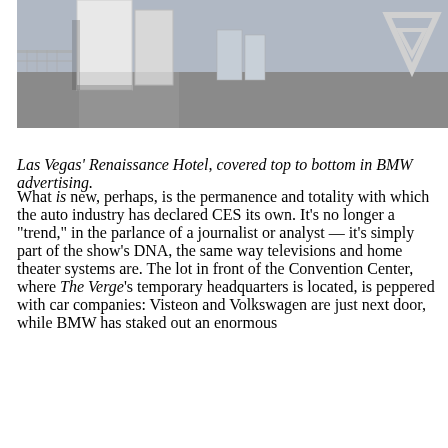[Figure (photo): Outdoor scene showing Las Vegas Renaissance Hotel area with large white panels or structures visible, likely covered in BMW advertising. Pavement and open area visible.]
Las Vegas' Renaissance Hotel, covered top to bottom in BMW advertising.
What is new, perhaps, is the permanence and totality with which the auto industry has declared CES its own. It's no longer a "trend," in the parlance of a journalist or analyst — it's simply part of the show's DNA, the same way televisions and home theater systems are. The lot in front of the Convention Center, where The Verge's temporary headquarters is located, is peppered with car companies: Visteon and Volkswagen are just next door, while BMW has staked out an enormous